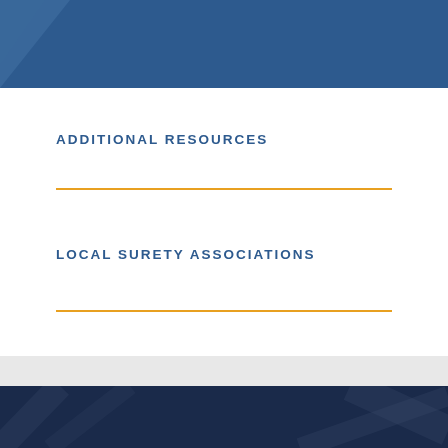DIVERSITY INITIATIVES
ADDITIONAL RESOURCES
LOCAL SURETY ASSOCIATIONS